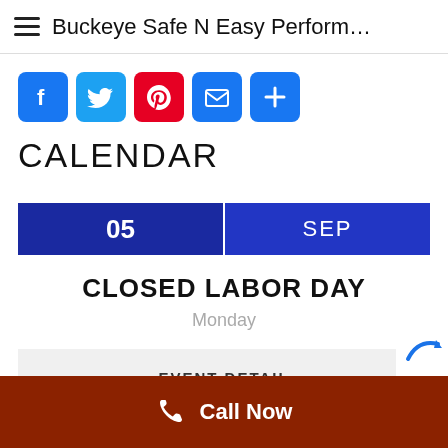Buckeye Safe N Easy Perform…
[Figure (other): Social sharing icons: Facebook (blue), Twitter (light blue), Pinterest (red), Email (blue), Plus/Share (blue)]
CALENDAR
05  SEP
CLOSED LABOR DAY
Monday
EVENT DETAIL
Call Now